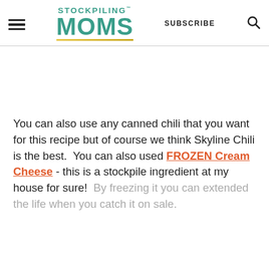STOCKPILING MOMS | SUBSCRIBE
You can also use any canned chili that you want for this recipe but of course we think Skyline Chili is the best.  You can also used FROZEN Cream Cheese - this is a stockpile ingredient at my house for sure!  By freezing it you can extended the life when you catch it on sale.